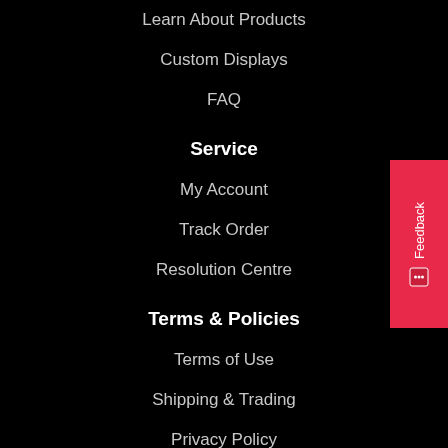Learn About Products
Custom Displays
FAQ
Service
My Account
Track Order
Resolution Centre
Terms & Policies
Terms of Use
Shipping & Trading
Privacy Policy
Security Policy
Stay In Touch